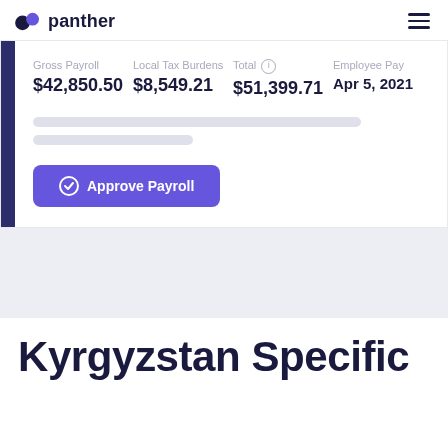panther
| Gross Payroll | Local Tax Burdens | Total | Employee Pay |
| --- | --- | --- | --- |
| $42,850.50 | $8,549.21 | $51,399.71 | Apr 5, 2021 |
Approve Payroll
Kyrgyzstan Specific